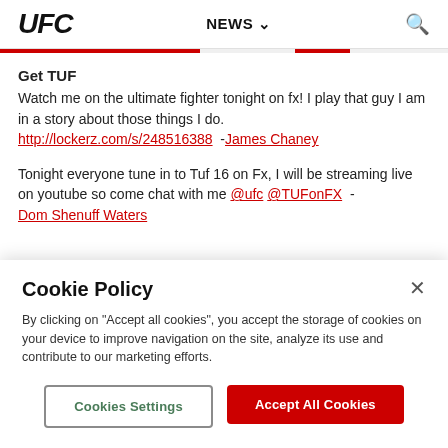UFC | NEWS
Get TUF
Watch me on the ultimate fighter tonight on fx! I play that guy I am in a story about those things I do.
http://lockerz.com/s/248516388  -James Chaney
Tonight everyone tune in to Tuf 16 on Fx, I will be streaming live on youtube so come chat with me @ufc @TUFonFX  - Dom Shenuff Waters
Cookie Policy
By clicking on "Accept all cookies", you accept the storage of cookies on your device to improve navigation on the site, analyze its use and contribute to our marketing efforts.
Cookies Settings
Accept All Cookies